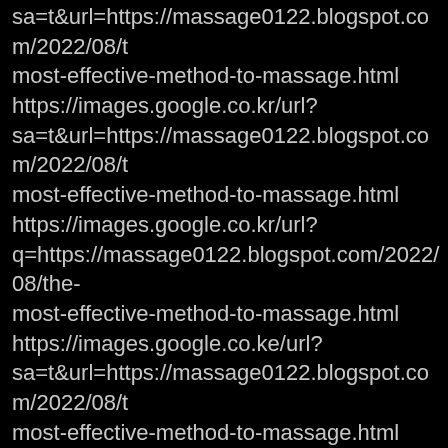sa=t&url=https://massage0122.blogspot.com/2022/08/t most-effective-method-to-massage.html https://images.google.co.kr/url? sa=t&url=https://massage0122.blogspot.com/2022/08/t most-effective-method-to-massage.html https://images.google.co.kr/url? q=https://massage0122.blogspot.com/2022/08/the-most-effective-method-to-massage.html https://images.google.co.ke/url? sa=t&url=https://massage0122.blogspot.com/2022/08/t most-effective-method-to-massage.html https://images.google.co.jp/url? sa=t&url=https://massage0122.blogspot.com/2022/08/t most-effective-method-to-massage.html https://images.google.co.in/url? sa=t&url=https://massage0122.blogspot.com/2022/08/t most-effective-method-to-massage.html